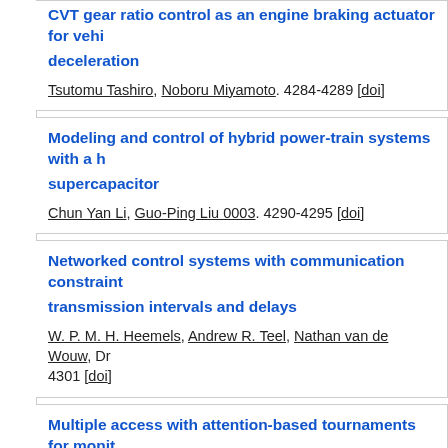CVT gear ratio control as an engine braking actuator for vehicle deceleration
Tsutomu Tashiro, Noboru Miyamoto. 4284-4289 [doi]
Modeling and control of hybrid power-train systems with a supercapacitor
Chun Yan Li, Guo-Ping Liu 0003. 4290-4295 [doi]
Networked control systems with communication constraints: varying transmission intervals and delays
W. P. M. H. Heemels, Andrew R. Teel, Nathan van de Wouw, Dra... 4301 [doi]
Multiple access with attention-based tournaments for monitoring networks
Chithrupa Ramesh, Henrik Sandberg, Karl Henrik Johansson. 4...
Energy-aware robust Model Predictive Control with feedback from noisy wireless sensors